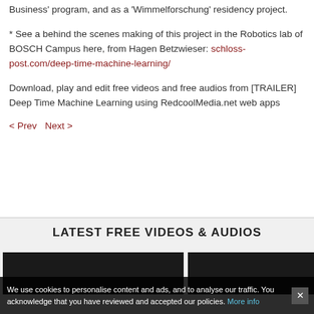Business' program, and as a 'Wimmelforschung' residency project.
* See a behind the scenes making of this project in the Robotics lab of BOSCH Campus here, from Hagen Betzwieser: schloss-post.com/deep-time-machine-learning/
Download, play and edit free videos and free audios from [TRAILER] Deep Time Machine Learning using RedcoolMedia.net web apps
< Prev   Next >
LATEST FREE VIDEOS & AUDIOS
[Figure (photo): Two dark thumbnail images side by side]
We use cookies to personalise content and ads, and to analyse our traffic. You acknowledge that you have reviewed and accepted our policies. More info